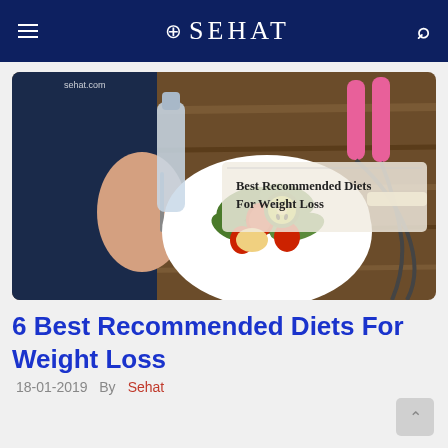⊕SEHAT
[Figure (photo): Person eating a salad bowl with strawberries, kiwi and greens; jump ropes and water bottle visible on wooden table. Overlay text reads: Best Recommended Diets For Weight Loss. Watermark: sehat.com]
6 Best Recommended Diets For Weight Loss
18-01-2019   By Sehat